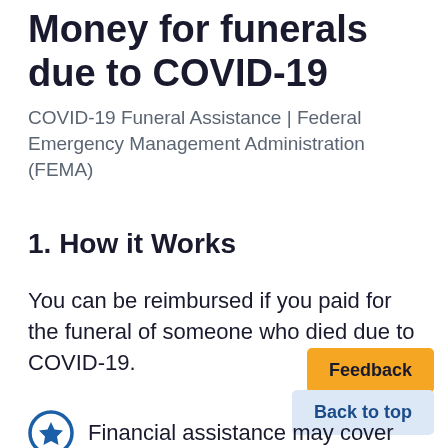Money for funerals due to COVID-19
COVID-19 Funeral Assistance | Federal Emergency Management Administration (FEMA)
1. How it Works
You can be reimbursed if you paid for the funeral of someone who died due to COVID-19.
[Figure (other): Feedback button (orange/yellow)]
[Figure (other): Back to top button (light blue)]
Financial assistance may cover